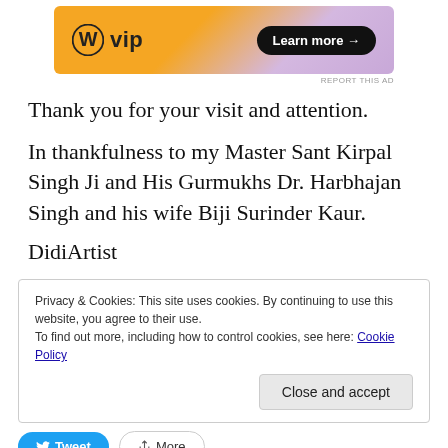[Figure (other): WordPress VIP advertisement banner with orange/purple gradient background, WordPress W logo, 'vip' text, and 'Learn more →' dark button]
REPORT THIS AD
Thank you for your visit and attention.
In thankfulness to my Master Sant Kirpal Singh Ji and His Gurmukhs Dr. Harbhajan Singh and his wife Biji Surinder Kaur.
DidiArtist
Privacy & Cookies: This site uses cookies. By continuing to use this website, you agree to their use.
To find out more, including how to control cookies, see here: Cookie Policy
Close and accept
Tweet  More